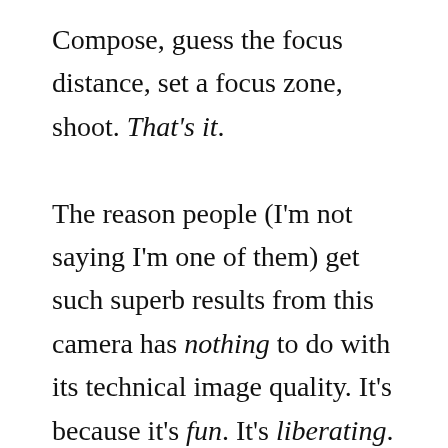Compose, guess the focus distance, set a focus zone, shoot. That's it.

The reason people (I'm not saying I'm one of them) get such superb results from this camera has nothing to do with its technical image quality. It's because it's fun. It's liberating. It frees up the mental